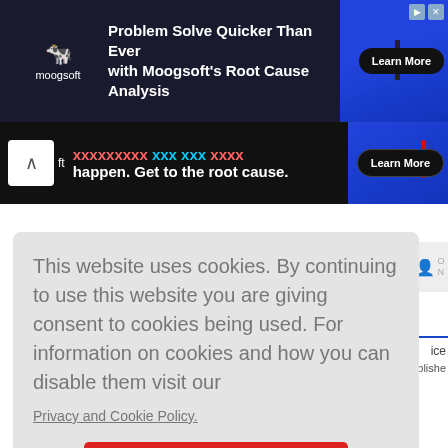[Figure (screenshot): Moogsoft advertisement banner: dark background with Moogsoft logo and text 'Problem Solve Quicker Than Ever with Moogsoft's Root Cause Analysis' and a Learn More button]
[Figure (screenshot): Second partially visible Moogsoft ad banner: dark background with text partially visible and 'happen. Get to the root cause.' with Learn More button]
This website uses cookies. By continuing to use this website you are giving consent to cookies being used. For information on cookies and how you can disable them visit our
Privacy and Cookie Policy.
AGREE & PROCEED